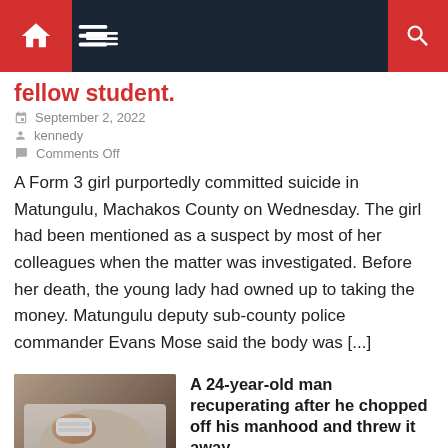Navigation bar with home, menu, and search icons
fellow student.
September 2, 2022
kennedy
Comments Off
A Form 3 girl purportedly committed suicide in Matungulu, Machakos County on Wednesday. The girl had been mentioned as a suspect by most of her colleagues when the matter was investigated. Before her death, the young lady had owned up to taking the money. Matungulu deputy sub-county police commander Evans Mose said the body was [...]
[Figure (photo): Photo of a person recuperating in a hospital bed, showing bandaged area, wearing blue jeans]
A 24-year-old man recuperating after he chopped off his manhood and threw it away.
September 2, 2022
kennedy
Comments Off